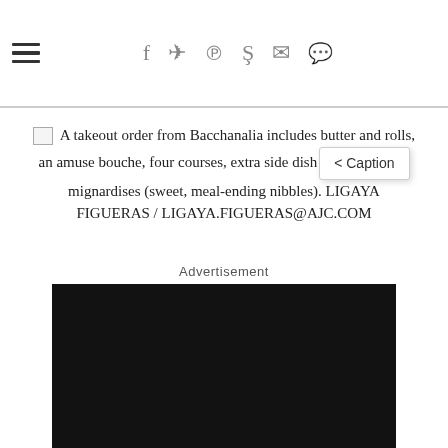hamburger menu and social share icons (Facebook, Twitter, Pinterest, Reddit, Mail, Comment)
A takeout order from Bacchanalia includes butter and rolls, an amuse bouche, four courses, extra side dishes, and mignardises (sweet, meal-ending nibbles). LIGAYA FIGUERAS / LIGAYA.FIGUERAS@AJC.COM
Advertisement
[Figure (other): Black advertisement block placeholder]